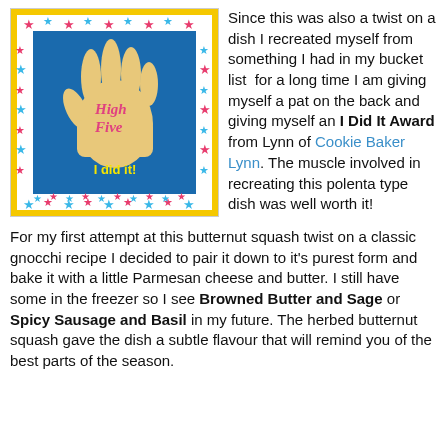[Figure (illustration): A colorful 'High Five I did it!' award card with a raised hand on a blue background, surrounded by a border of colorful stars on a white/yellow background.]
Since this was also a twist on a dish I recreated myself from something I had in my bucket list  for a long time I am giving myself a pat on the back and giving myself an I Did It Award from Lynn of Cookie Baker Lynn. The muscle involved in recreating this polenta type dish was well worth it!
For my first attempt at this butternut squash twist on a classic gnocchi recipe I decided to pair it down to it's purest form and bake it with a little Parmesan cheese and butter. I still have some in the freezer so I see Browned Butter and Sage or Spicy Sausage and Basil in my future. The herbed butternut squash gave the dish a subtle flavour that will remind you of the best parts of the season.